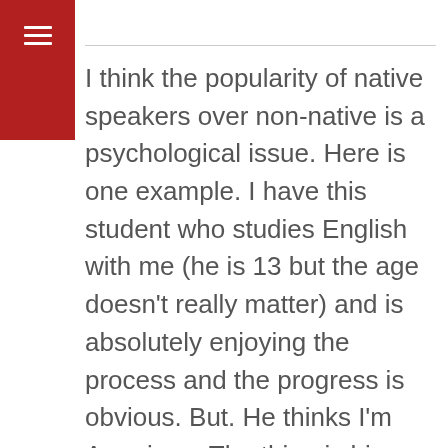[Figure (other): Red rectangle navigation bar with white hamburger menu icon (three horizontal lines)]
I think the popularity of native speakers over non-native is a psychological issue. Here is one example. I have this student who studies English with me (he is 13 but the age doesn't really matter) and is absolutely enjoying the process and the progress is obvious. But. He thinks I'm American. The thing is his mother used to be my student and at that